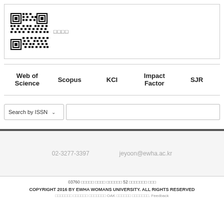[Figure (other): QR code with Korean label text beside it, inside a bordered box]
Web of Science   Scopus   KCI   Impact Factor   SJR
Search by ISSN [dropdown] [text input]
02-3277-3397   jeyoon@ewha.ac.kr
03760 서울특별시 서대문구 이화여대길 52 이화여자대학교 도서관
COPYRIGHT 2016 BY EWHA WOMANS UNIVERSITY. ALL RIGHTS RESERVED
이화여자대학교 중앙도서관은 학술정보를 OAK 리포지토리를 서비스합니다. Feedback